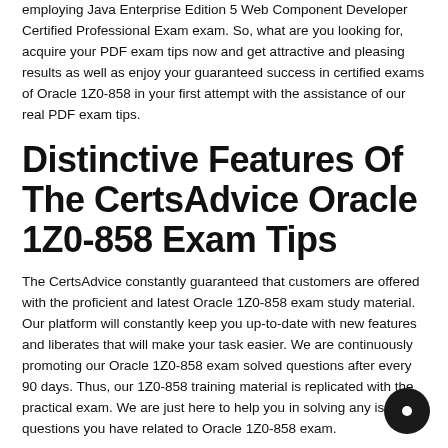employing Java Enterprise Edition 5 Web Component Developer Certified Professional Exam exam. So, what are you looking for, acquire your PDF exam tips now and get attractive and pleasing results as well as enjoy your guaranteed success in certified exams of Oracle 1Z0-858 in your first attempt with the assistance of our real PDF exam tips.
Distinctive Features Of The CertsAdvice Oracle 1Z0-858 Exam Tips
The CertsAdvice constantly guaranteed that customers are offered with the proficient and latest Oracle 1Z0-858 exam study material. Our platform will constantly keep you up-to-date with new features and liberates that will make your task easier. We are continuously promoting our Oracle 1Z0-858 exam solved questions after every 90 days. Thus, our 1Z0-858 training material is replicated with the practical exam. We are just here to help you in solving any issue or questions you have related to Oracle 1Z0-858 exam.
Simple To Use And Print Our 1Z0-858 Exam Questions